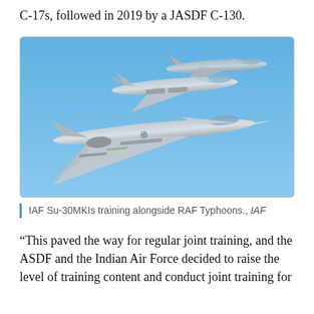C-17s, followed in 2019 by a JASDF C-130.
[Figure (photo): Formation of IAF Su-30MKI fighter jets flying alongside RAF Typhoons against a blue sky background.]
IAF Su-30MKIs training alongside RAF Typhoons., IAF
“This paved the way for regular joint training, and the ASDF and the Indian Air Force decided to raise the level of training content and conduct joint training for fighters.” (text continues and is cut off)